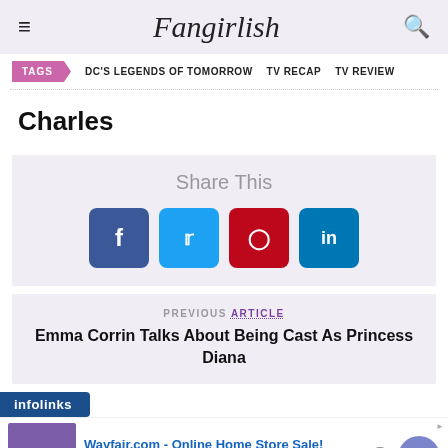Fangirlish
TAGS  DC'S LEGENDS OF TOMORROW  TV RECAP  TV REVIEW
Charles
[Figure (infographic): Share This section with Facebook, Twitter, Pinterest, LinkedIn buttons]
PREVIOUS ARTICLE
Emma Corrin Talks About Being Cast As Princess Diana
infolinks
[Figure (screenshot): Wayfair.com advertisement: Online Home Store Sale! Shop for A Zillion Things Home across all styles at Wayfair! www.wayfair.com]